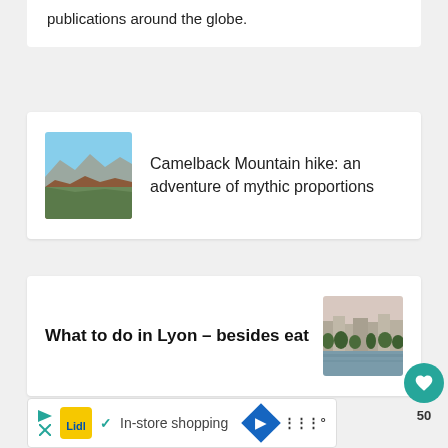publications around the globe.
Camelback Mountain hike: an adventure of mythic proportions
[Figure (photo): Aerial/elevated view of a landscape with mountains in the background and a rocky hillside in the foreground, blue sky]
What to do in Lyon – besides eat
[Figure (photo): City of Lyon riverfront view with trees and buildings along the water]
50
In-store shopping